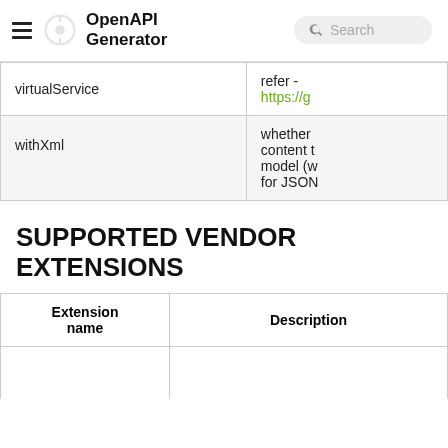OpenAPI Generator — Search
|  |  |
| --- | --- |
| virtualService | refer -
https://g |
| withXml | whether content t model (w for JSON |
SUPPORTED VENDOR EXTENSIONS
| Extension name | Description |
| --- | --- |
|  |  |